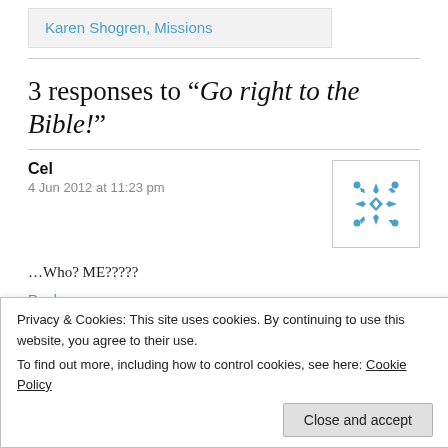Karen Shogren, Missions
3 responses to “Go right to the Bible!”
Cel
4 Jun 2012 at 11:23 pm
…Who? ME?????
Reply
Privacy & Cookies: This site uses cookies. By continuing to use this website, you agree to their use.
To find out more, including how to control cookies, see here: Cookie Policy
Close and accept